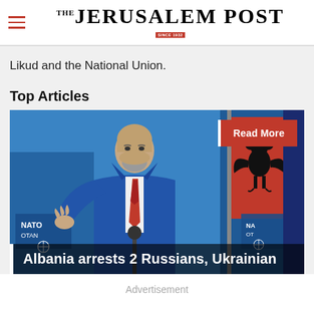THE JERUSALEM POST
Likud and the National Union.
Top Articles
[Figure (photo): A man in a blue suit with a red tie gestures while speaking at a podium. NATO signs and red Albanian flag with black double-headed eagle visible in background. Headline reads: Albania arrests 2 Russians, Ukrainian. A 'Read More' button appears in the top right.]
Advertisement